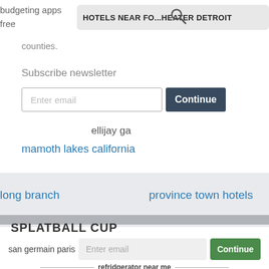budgeting apps
free
HOTELS NEAR FO...HEATER DETROIT
counties.
Subscribe newsletter
Enter email
Continue
ellijay ga
mamoth lakes california
long branch
province town hotels
SPLATBALL CUP
san germain paris
Enter email
Continue
refridgerator near me
missing in sc